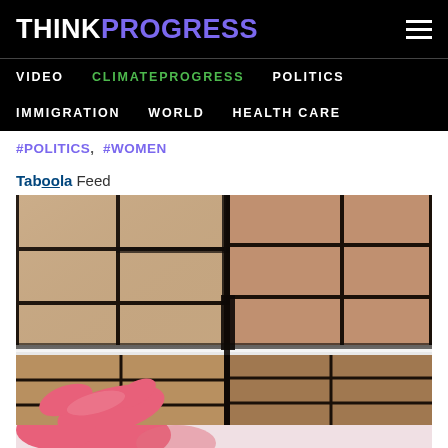THINKPROGRESS
VIDEO  CLIMATEPROGRESS  POLITICS  IMMIGRATION  WORLD  HEALTH CARE
#POLITICS,  #WOMEN
Taboola Feed
[Figure (photo): Close-up photo of dirty bathroom tiles with black mold in the grout lines. A hand wearing a pink rubber glove is pointing at the corner where wall tiles meet the white bathtub/floor. The tiles are beige/tan colored with dark black grout seams heavily stained with mold.]